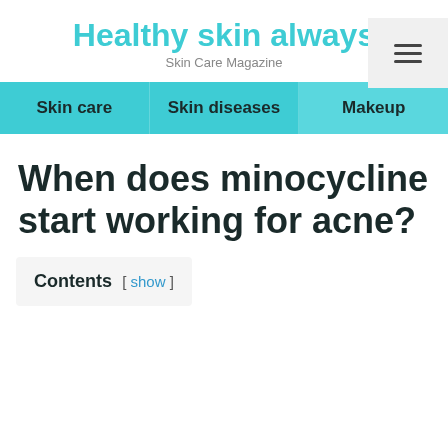Healthy skin always
Skin Care Magazine
Skin care | Skin diseases | Makeup
When does minocycline start working for acne?
Contents [ show ]